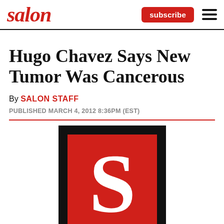salon | subscribe ☰
Hugo Chavez Says New Tumor Was Cancerous
By SALON STAFF
PUBLISHED MARCH 4, 2012 8:36PM (EST)
[Figure (logo): Salon logo: large white letter S on red square background with black border]